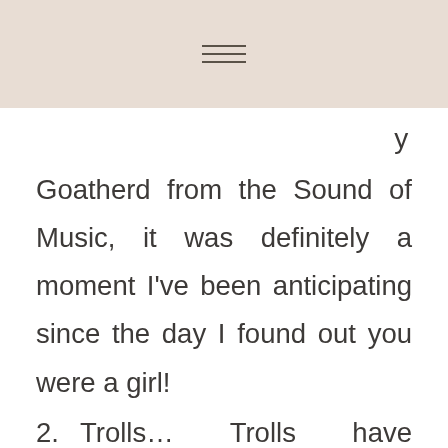≡ (navigation icon)
Goatherd from the Sound of Music, it was definitely a moment I've been anticipating since the day I found out you were a girl!
2.  Trolls... Trolls have invaded our home, you are absolutely obsessed with the movie! You adore Princess